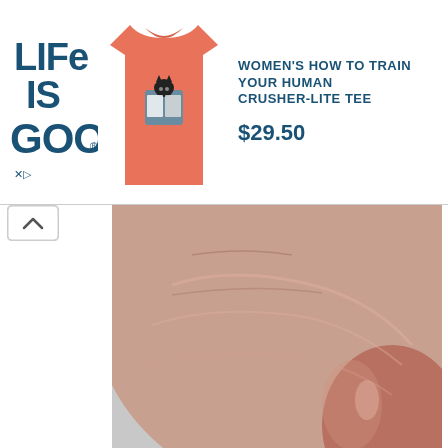[Figure (screenshot): Life is Good brand advertisement banner showing a coral/salmon colored women's t-shirt with a cat reading a book design, alongside product title and price]
[Figure (photo): Close-up photo of a human thumb and fingers pressing or pinching something, on a light gray background]
Then use smaller jump rings to attach the "star" to the tree. Add your preferred chain or necklace cord and you're done!  ( Or use ribbon loops if you are using these as ornaments).
[Figure (photo): Partially visible photo below the text, showing a light gray/white background, appears to be beginning of another step image]